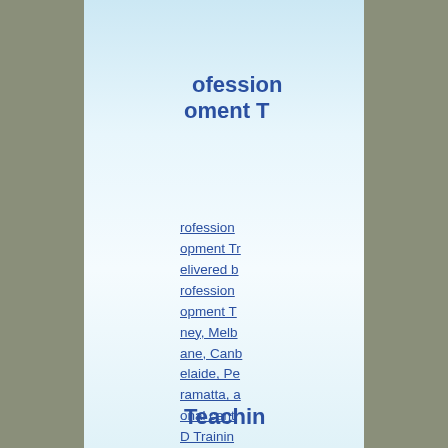Professional Development T
rofessional Development Tr delivered b rofessional opment T ney, Melb ane, Canb elaide, Pe ramatta, a onal cent D Trainin
Teaching